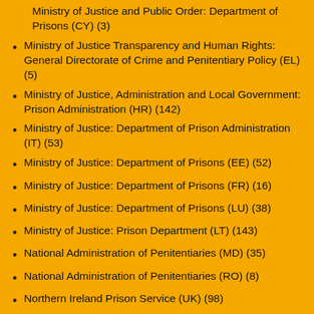Ministry of Justice and Public Order: Department of Prisons (CY) (3)
Ministry of Justice Transparency and Human Rights: General Directorate of Crime and Penitentiary Policy (EL) (5)
Ministry of Justice, Administration and Local Government: Prison Administration (HR) (142)
Ministry of Justice: Department of Prison Administration (IT) (53)
Ministry of Justice: Department of Prisons (EE) (52)
Ministry of Justice: Department of Prisons (FR) (16)
Ministry of Justice: Department of Prisons (LU) (38)
Ministry of Justice: Prison Department (LT) (143)
National Administration of Penitentiaries (MD) (35)
National Administration of Penitentiaries (RO) (8)
Northern Ireland Prison Service (UK) (98)
Prison Administration of the Republic of Slovenia (SI) (96)